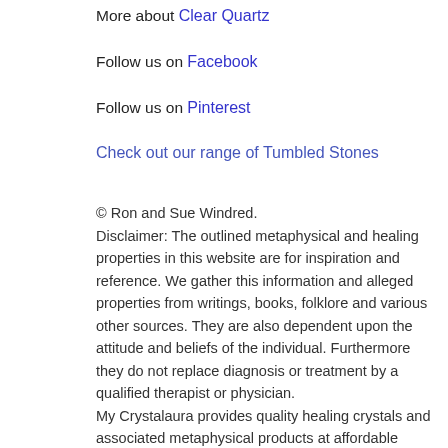More about Clear Quartz
Follow us on Facebook
Follow us on Pinterest
Check out our range of Tumbled Stones
© Ron and Sue Windred.
Disclaimer: The outlined metaphysical and healing properties in this website are for inspiration and reference. We gather this information and alleged properties from writings, books, folklore and various other sources. They are also dependent upon the attitude and beliefs of the individual. Furthermore they do not replace diagnosis or treatment by a qualified therapist or physician.
My Crystalaura provides quality healing crystals and associated metaphysical products at affordable prices. They are tools of healing, inspiration and hope. Your personal intention to change or improve yourself empowers them. We sell and advertise our products in good faith, but results and